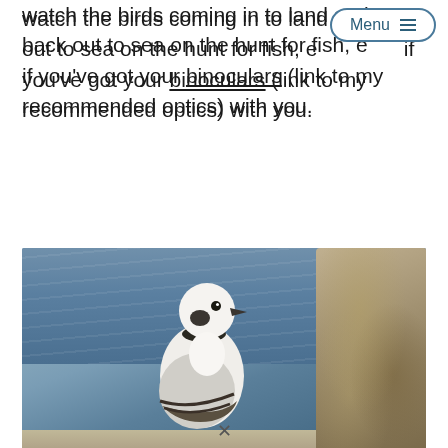watch the birds coming in to land and back out to sea on the hunt for fish, especially if you've got your binoculars (link to my recommended optics) with you.
[Figure (photo): A small white and black seabird (likely a juvenile kittiwake or similar gull) perched on a rocky ledge with blue ocean water in the background and a lichen-covered rock on the right side.]